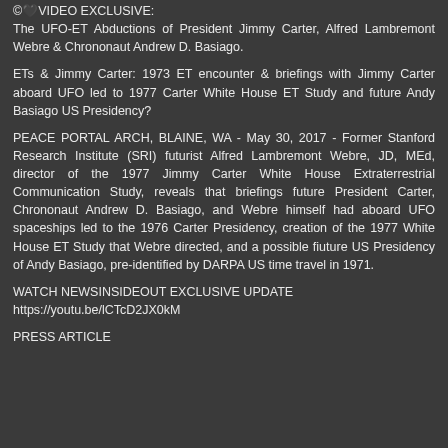©🖤VIDEO EXCLUSIVE: The UFO-ET Abductions of President Jimmy Carter, Alfred Lambremont Webre & Chrononaut Andrew D. Basiago.
ETs & Jimmy Carter: 1973 ET encounter & briefings with Jimmy Carter aboard UFO led to 1977 Carter White House ET Study and future Andy Basiago US Presidency?
PEACE PORTAL ARCH, BLAINE, WA - May 30, 2017 - Former Stanford Research Institute (SRI) futurist Alfred Lambremont Webre, JD, MEd, director of the 1977 Jimmy Carter White House Extraterrestrial Communication Study, reveals that briefings future President Carter, Chrononaut Andrew D. Basiago, and Webre himself had aboard UFO spaceships led to the 1976 Carter Presidency, creation of the 1977 White House ET Study that Webre directed, and a possible fiuture US Presidency of Andy Basiago, pre-identified by DARPA US time travel in 1971.
WATCH NEWSINSIDEOUT EXCLUSIVE UPDATE https://youtu.be/lCTcD2JX0kM
PRESS ARTICLE